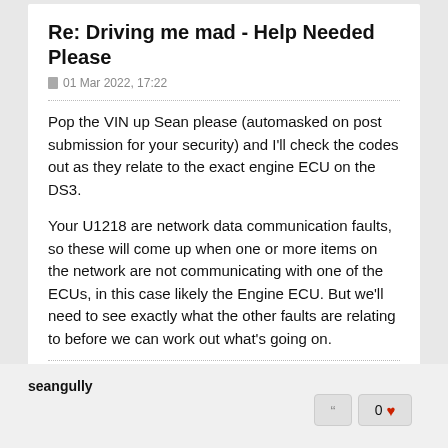Re: Driving me mad - Help Needed Please
01 Mar 2022, 17:22
Pop the VIN up Sean please (automasked on post submission for your security) and I'll check the codes out as they relate to the exact engine ECU on the DS3.
Your U1218 are network data communication faults, so these will come up when one or more items on the network are not communicating with one of the ECUs, in this case likely the Engine ECU. But we'll need to see exactly what the other faults are relating to before we can work out what's going on.
Marc
seangully